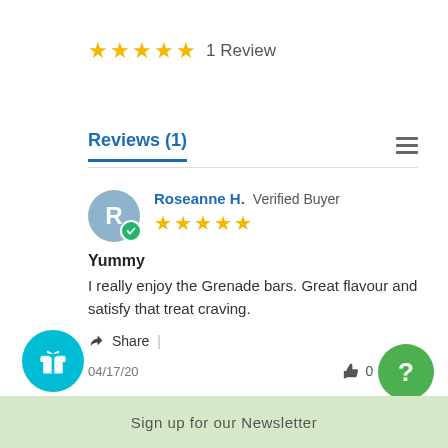★★★★★  1 Review
Reviews (1)
Roseanne H.  Verified Buyer
★★★★★
Yummy
I really enjoy the Grenade bars. Great flavour and satisfy that treat craving.
Share  |
04/17/20  👍 0  👎 0